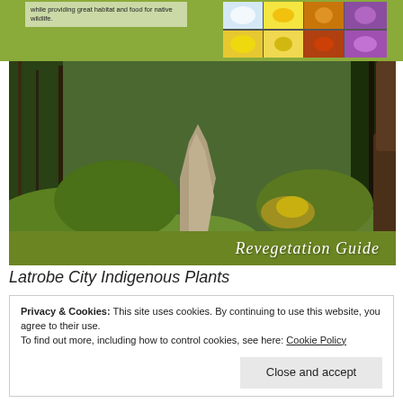while providing great habitat and food for native wildlife.
[Figure (photo): Collage of 8 nature/plant photos arranged in a 4x2 grid on a green background]
[Figure (photo): Bush track path through lush green Australian native vegetation, tall trees, ferns and shrubs]
Revegetation Guide
Latrobe City Indigenous Plants
Privacy & Cookies: This site uses cookies. By continuing to use this website, you agree to their use.
To find out more, including how to control cookies, see here: Cookie Policy
Close and accept